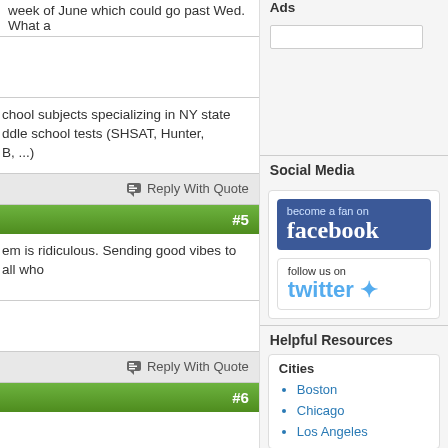week of June which could go past Wed. What a
chool subjects specializing in NY state ddle school tests (SHSAT, Hunter, B, ...)
Reply With Quote
#5
em is ridiculous. Sending good vibes to all who
Reply With Quote
#6
Ads
Social Media
[Figure (screenshot): Facebook 'become a fan' banner button in blue]
[Figure (screenshot): Twitter 'follow us on' banner button in white with blue twitter text]
Helpful Resources
Cities
Boston
Chicago
Los Angeles